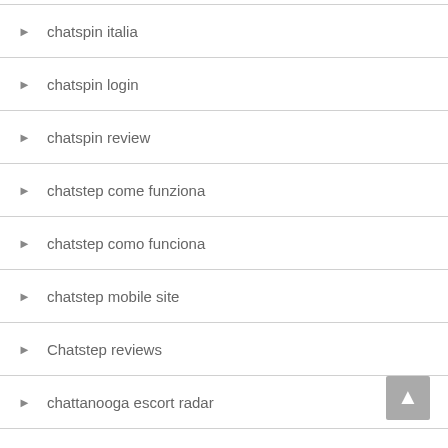chatspin italia
chatspin login
chatspin review
chatstep come funziona
chatstep como funciona
chatstep mobile site
Chatstep reviews
chattanooga escort radar
chattanooga escort services